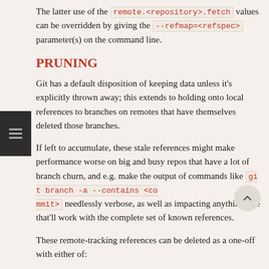The latter use of the remote.<repository>.fetch values can be overridden by giving the --refmap=<refspec> parameter(s) on the command line.
PRUNING
Git has a default disposition of keeping data unless it's explicitly thrown away; this extends to holding onto local references to branches on remotes that have themselves deleted those branches.
If left to accumulate, these stale references might make performance worse on big and busy repos that have a lot of branch churn, and e.g. make the output of commands like git branch -a --contains <commit> needlessly verbose, as well as impacting anything else that'll work with the complete set of known references.
These remote-tracking references can be deleted as a one-off with either of: